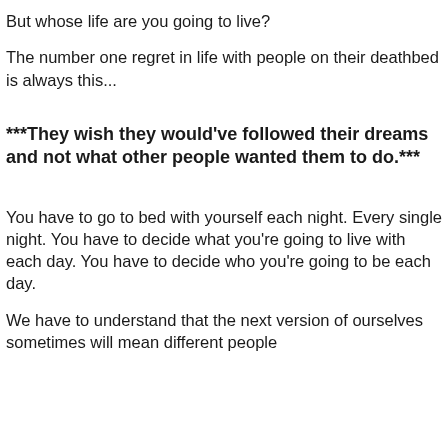But whose life are you going to live?
The number one regret in life with people on their deathbed is always this...
***They wish they would've followed their dreams and not what other people wanted them to do.***
You have to go to bed with yourself each night. Every single night. You have to decide what you're going to live with each day. You have to decide who you're going to be each day.
We have to understand that the next version of ourselves sometimes will mean different people...